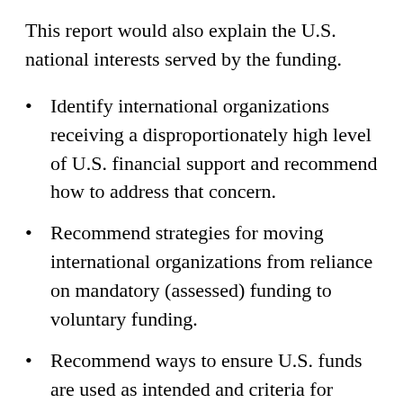This report would also explain the U.S. national interests served by the funding.
Identify international organizations receiving a disproportionately high level of U.S. financial support and recommend how to address that concern.
Recommend strategies for moving international organizations from reliance on mandatory (assessed) funding to voluntary funding.
Recommend ways to ensure U.S. funds are used as intended and criteria for determining which organizations merit continued funding.